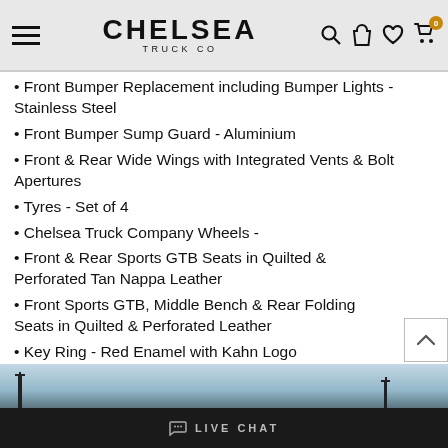Chelsea Truck Co — navigation header
Front Bumper Replacement including Bumper Lights - Stainless Steel
Front Bumper Sump Guard - Aluminium
Front & Rear Wide Wings with Integrated Vents & Bolt Apertures
Tyres - Set of 4
Chelsea Truck Company Wheels -
Front & Rear Sports GTB Seats in Quilted & Perforated Tan Nappa Leather
Front Sports GTB, Middle Bench & Rear Folding Seats in Quilted & Perforated Leather
Key Ring - Red Enamel with Kahn Logo
Interior - Kahn Investing in British Industry Log
[Figure (photo): Outdoor sky and silhouette photo strip, light blue sky with dark tower/antenna silhouettes]
LIVE CHAT